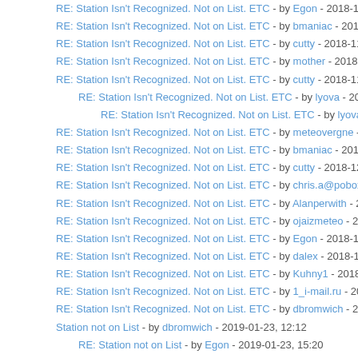RE: Station Isn't Recognized. Not on List. ETC - by Egon - 2018-11-13, 03:30
RE: Station Isn't Recognized. Not on List. ETC - by bmaniac - 2018-11-13, 09:
RE: Station Isn't Recognized. Not on List. ETC - by cutty - 2018-11-13, 16:18
RE: Station Isn't Recognized. Not on List. ETC - by mother - 2018-11-15, 11:0
RE: Station Isn't Recognized. Not on List. ETC - by cutty - 2018-11-19, 12:09
RE: Station Isn't Recognized. Not on List. ETC - by lyova - 2019-05-12, 05:
RE: Station Isn't Recognized. Not on List. ETC - by lyova - 2019-05-14,
RE: Station Isn't Recognized. Not on List. ETC - by meteovergne - 2018-11-1
RE: Station Isn't Recognized. Not on List. ETC - by bmaniac - 2018-12-06, 21
RE: Station Isn't Recognized. Not on List. ETC - by cutty - 2018-12-07, 00:49
RE: Station Isn't Recognized. Not on List. ETC - by chris.a@pobox.com - 201
RE: Station Isn't Recognized. Not on List. ETC - by Alanperwith - 2018-12-14
RE: Station Isn't Recognized. Not on List. ETC - by ojaizmeteo - 2018-12-15,
RE: Station Isn't Recognized. Not on List. ETC - by Egon - 2018-12-16, 10:57
RE: Station Isn't Recognized. Not on List. ETC - by dalex - 2018-12-16, 12:16
RE: Station Isn't Recognized. Not on List. ETC - by Kuhny1 - 2018-12-28, 00:
RE: Station Isn't Recognized. Not on List. ETC - by 1_i-mail.ru - 2019-01-11,
RE: Station Isn't Recognized. Not on List. ETC - by dbromwich - 2019-01-15,
Station not on List - by dbromwich - 2019-01-23, 12:12
RE: Station not on List - by Egon - 2019-01-23, 15:20
RE: Station Isn't Recognized. Not on List. ETC - by AntonBurtsev - 2019-02-0
RE: Station Isn't Recognized. Not on List. ETC - by vasely - 2019-02-13, 14:3
RE: Station Isn't Recognized. Not on List. ETC - by Blitzfeuer - 2019-02-19, 0
RE: Station Isn't Recognized. Not on List. ETC - by Egon - 2019-02-19, 20:48
RE: Station Isn't Recognized. Not on List. ETC - by Blitzfeuer - 2019-02-19